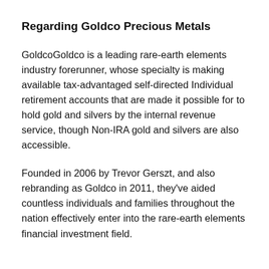Regarding Goldco Precious Metals
GoldcoGoldco is a leading rare-earth elements industry forerunner, whose specialty is making available tax-advantaged self-directed Individual retirement accounts that are made it possible for to hold gold and silvers by the internal revenue service, though Non-IRA gold and silvers are also accessible.
Founded in 2006 by Trevor Gerszt, and also rebranding as Goldco in 2011, they've aided countless individuals and families throughout the nation effectively enter into the rare-earth elements financial investment field.